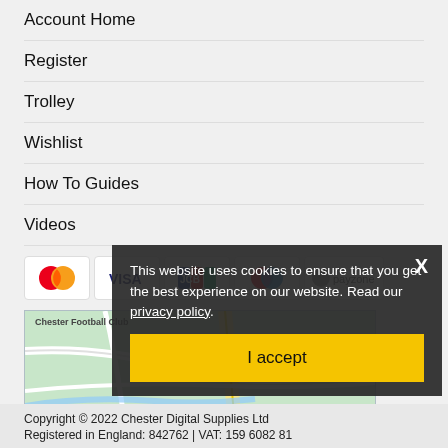Account Home
Register
Trolley
Wishlist
How To Guides
Videos
[Figure (other): Payment method icons: Mastercard, VISA, JCB, Maestro, Payzone]
[Figure (map): Google map showing Chester Football Club area]
This website uses cookies to ensure that you get the best experience on our website. Read our privacy policy.
I accept
Copyright © 2022 Chester Digital Supplies Ltd
Registered in England: 842762 | VAT: 159 6082 81